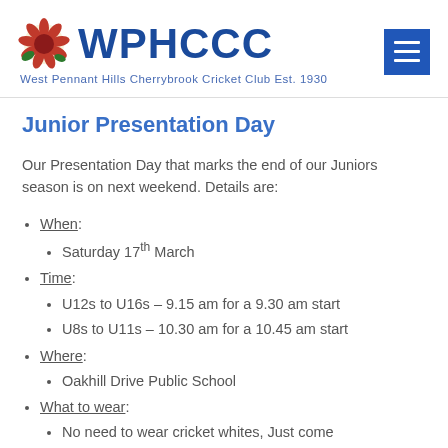WPHCCC — West Pennant Hills Cherrybrook Cricket Club Est. 1930
Junior Presentation Day
Our Presentation Day that marks the end of our Juniors season is on next weekend. Details are:
When: Saturday 17th March
Time: U12s to U16s – 9.15 am for a 9.30 am start; U8s to U11s – 10.30 am for a 10.45 am start
Where: Oakhill Drive Public School
What to wear: No need to wear cricket whites, Just come